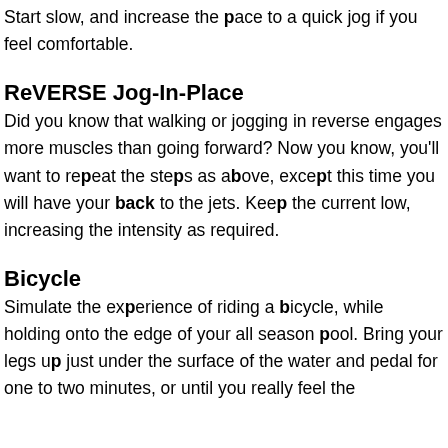Start slow, and increase the pace to a quick jog if you feel comfortable.
ReVERSE Jog-In-Place
Did you know that walking or jogging in reverse engages more muscles than going forward? Now you know, you'll want to repeat the steps as above, except this time you will have your back to the jets. Keep the current low, increasing the intensity as required.
Bicycle
Simulate the experience of riding a bicycle, while holding onto the edge of your all season pool. Bring your legs up just under the surface of the water and pedal for one to two minutes, or until you really feel the